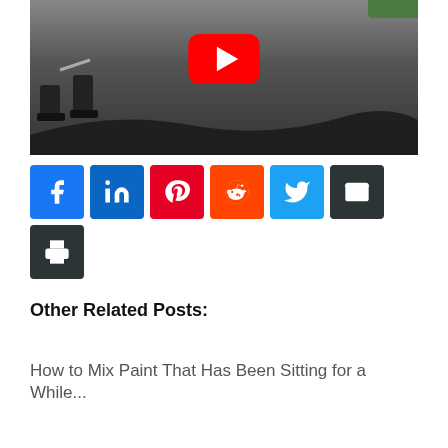[Figure (screenshot): YouTube video thumbnail showing a person in black boots spreading dark sealant/paint on a surface with a roller tool. A red YouTube play button is overlaid in the center.]
[Figure (infographic): Row of social share buttons: Facebook (blue), LinkedIn (blue), Pinterest (red), Reddit (orange), Twitter (light blue), Email (dark), Print (dark)]
Other Related Posts:
How to Mix Paint That Has Been Sitting for a While...